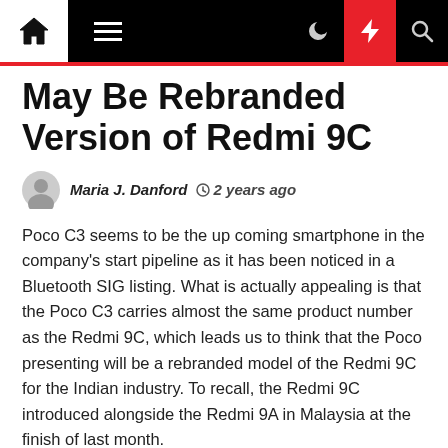Navigation bar with home, menu, moon, flash, search icons
May Be Rebranded Version of Redmi 9C
Maria J. Danford  2 years ago
Poco C3 seems to be the up coming smartphone in the company's start pipeline as it has been noticed in a Bluetooth SIG listing. What is actually appealing is that the Poco C3 carries almost the same product number as the Redmi 9C, which leads us to think that the Poco presenting will be a rebranded model of the Redmi 9C for the Indian industry. To recall, the Redmi 9C introduced alongside the Redmi 9A in Malaysia at the finish of last month.